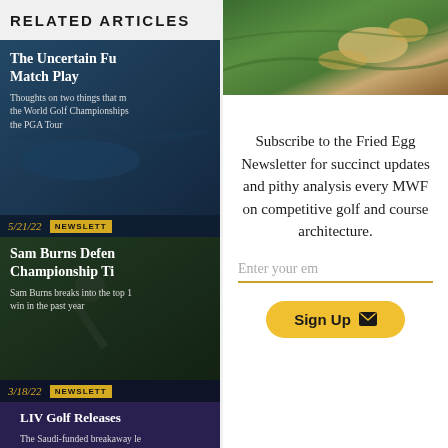RELATED ARTICLES
[Figure (photo): Golf course aerial view - green fairways and sand bunkers]
The Uncertain Fu... Match Play
Thoughts on two things that m... the World Golf Championships... the PGA Tour
5/21/22 NEWSLETT...
Sam Burns Defends Championship Ti...
Sam Burns breaks into the top 1... win in the past year
3/18/22 NEWSLETT...
LIV Golf Releases...
The Saudi-funded breakaway le... venues, and the governing bodie... the equipment front
Subscribe to the Fried Egg Newsletter for succinct updates and pithy analysis every MWF on competitive golf and course architecture.
Enter your em